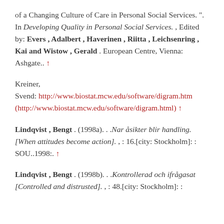of a Changing Culture of Care in Personal Social Services. ". In Developing Quality in Personal Social Services. , Edited by: Evers , Adalbert , Haverinen , Riitta , Leichsenring , Kai and Wistow , Gerald . European Centre, Vienna: Ashgate.. ↑
Kreiner, Svend: http://www.biostat.mcw.edu/software/digram.htm (http://www.biostat.mcw.edu/software/digram.html) ↑
Lindqvist , Bengt . (1998a)... Nar åsikter blir handling. [When attitudes become action]. , : 16.[city: Stockholm]: : SOU..1998:. ↑
Lindqvist , Bengt . (1998b)... Kontrollerad och ifrågasat [Controlled and distrusted]. , : 48.[city: Stockholm]: :